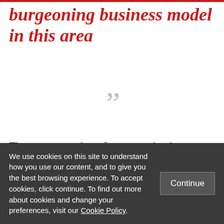burgeoning business model in this area
[Figure (other): Large decorative closing quotation marks in light grey]
There are a number of reasons why the acquisition is worthy of attention, some of which are encapsulated in the subtle distinction that Jashick and Lederman make
We use cookies on this site to understand how you use our content, and to give you the best browsing experience. To accept cookies, click continue. To find out more about cookies and change your preferences, visit our Cookie Policy.